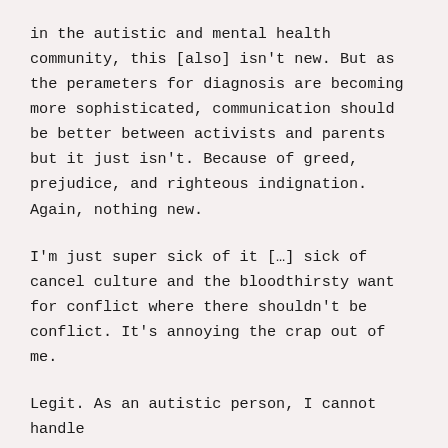in the autistic and mental health community, this [also] isn't new. But as the perameters for diagnosis are becoming more sophisticated, communication should be better between activists and parents but it just isn't. Because of greed, prejudice, and righteous indignation. Again, nothing new.
I'm just super sick of it […] sick of cancel culture and the bloodthirsty want for conflict where there shouldn't be conflict. It's annoying the crap out of me.
Legit. As an autistic person, I cannot handle